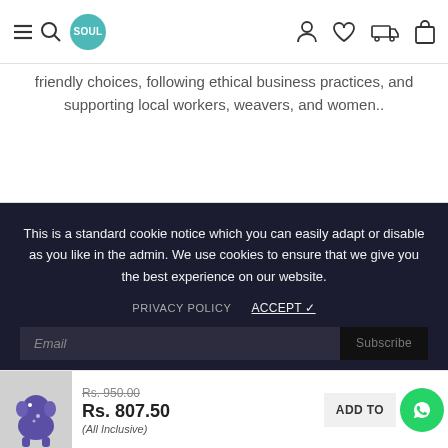SOUL navigation header with logo, search, user, wishlist, delivery, and cart icons
friendly choices, following ethical business practices, and supporting local workers, weavers, and women..
This is a standard cookie notice which you can easily adapt or disable as you like in the admin. We use cookies to ensure that we give you the best experience on our website.
PRIVACY POLICY   ACCEPT ✓
Email   Subscribe
[Figure (photo): Small purple elephant figurine product thumbnail]
Rs. 950.00
Rs. 807.50
(All Inclusive)
ADD TO